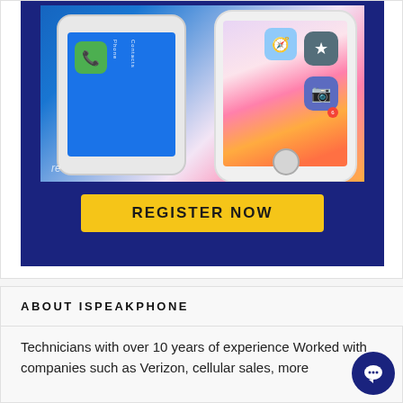[Figure (photo): Close-up photo of two white smartphones (Android and iPhone) on a dark blue background, showing their screens with app icons including phone, contacts, star, camera apps. A yellow 'REGISTER NOW' button appears below the phones on the blue background.]
ABOUT ISPEAKPHONE
Technicians with over 10 years of experience Worked with companies such as Verizon, cellular sales, more